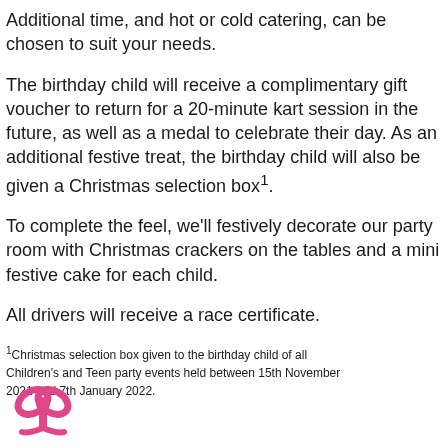Additional time, and hot or cold catering, can be chosen to suit your needs.
The birthday child will receive a complimentary gift voucher to return for a 20-minute kart session in the future, as well as a medal to celebrate their day. As an additional festive treat, the birthday child will also be given a Christmas selection box¹.
To complete the feel, we'll festively decorate our party room with Christmas crackers on the tables and a mini festive cake for each child.
All drivers will receive a race certificate.
¹Christmas selection box given to the birthday child of all Children's and Teen party events held between 15th November 2021 and 7th January 2022.
[Figure (illustration): Pink gift/ribbon bow icon at the bottom left of the page]